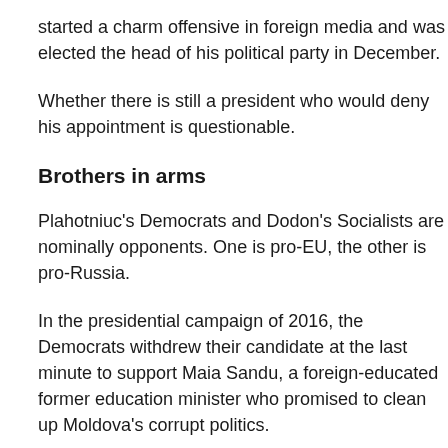started a charm offensive in foreign media and was elected the head of his political party in December.
Whether there is still a president who would deny his appointment is questionable.
Brothers in arms
Plahotniuc's Democrats and Dodon's Socialists are nominally opponents. One is pro-EU, the other is pro-Russia.
In the presidential campaign of 2016, the Democrats withdrew their candidate at the last minute to support Maia Sandu, a foreign-educated former education minister who promised to clean up Moldova's corrupt politics.
Sandu rejected Plahotniuc's embrace and with good reason. The Democrats refused to support her when she